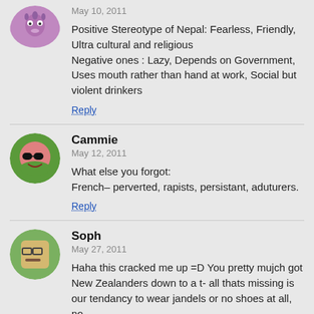[Figure (illustration): Partial avatar icon (purple alien-like figure), partially cropped at top]
May 10, 2011
Positive Stereotype of Nepal: Fearless, Friendly, Ultra cultural and religious
Negative ones : Lazy, Depends on Government, Uses mouth rather than hand at work, Social but violent drinkers
Reply
[Figure (illustration): Avatar icon of a round pink face with sunglasses and a smirk, on green background]
Cammie
May 12, 2011
What else you forgot:
French– perverted, rapists, persistant, aduturers.
Reply
[Figure (illustration): Avatar icon of a square-faced character with glasses and a flat expression, on green background]
Soph
May 27, 2011
Haha this cracked me up =D You pretty mujch got New Zealanders down to a t- all thats missing is our tendancy to wear jandels or no shoes at all, no